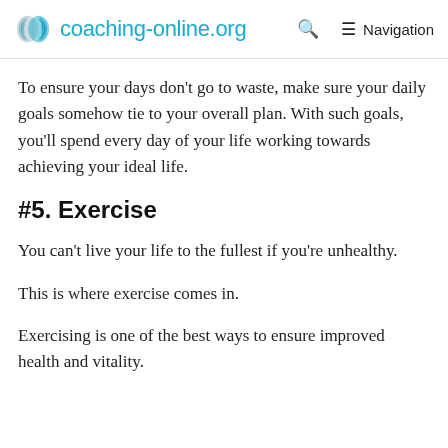coaching-online.org  Q  Navigation
To ensure your days don't go to waste, make sure your daily goals somehow tie to your overall plan. With such goals, you'll spend every day of your life working towards achieving your ideal life.
#5. Exercise
You can't live your life to the fullest if you're unhealthy.
This is where exercise comes in.
Exercising is one of the best ways to ensure improved health and vitality.